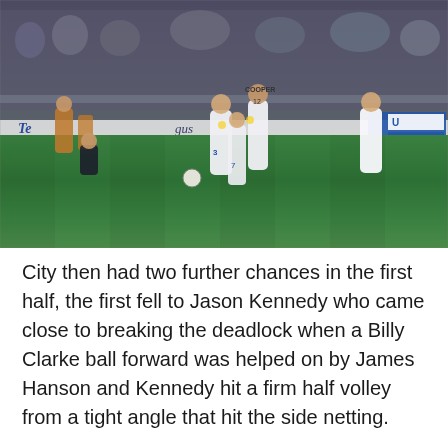[Figure (photo): Football match scene showing players in white Leeds United kits on a green pitch, with crowd and advertising hoardings visible in the background. The billboard reads 'Te[lecom]' and 'gus' on the left, and a blue and white board on the right. Players wearing white numbered shirts including number 3 and Cooper (12) are visible.]
City then had two further chances in the first half, the first fell to Jason Kennedy who came close to breaking the deadlock when a Billy Clarke ball forward was helped on by James Hanson and Kennedy hit a firm half volley from a tight angle that hit the side netting.
Gary Liddle then had the second chance on the stroke of